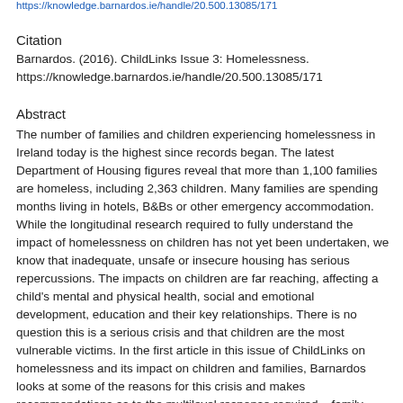https://knowledge.barnardos.ie/handle/20.500.13085/171
Citation
Barnardos. (2016). ChildLinks Issue 3: Homelessness. https://knowledge.barnardos.ie/handle/20.500.13085/171
Abstract
The number of families and children experiencing homelessness in Ireland today is the highest since records began. The latest Department of Housing figures reveal that more than 1,100 families are homeless, including 2,363 children. Many families are spending months living in hotels, B&Bs or other emergency accommodation. While the longitudinal research required to fully understand the impact of homelessness on children has not yet been undertaken, we know that inadequate, unsafe or insecure housing has serious repercussions. The impacts on children are far reaching, affecting a child's mental and physical health, social and emotional development, education and their key relationships. There is no question this is a serious crisis and that children are the most vulnerable victims. In the first article in this issue of ChildLinks on homelessness and its impact on children and families, Barnardos looks at some of the reasons for this crisis and makes recommendations as to the multilevel response required – family-